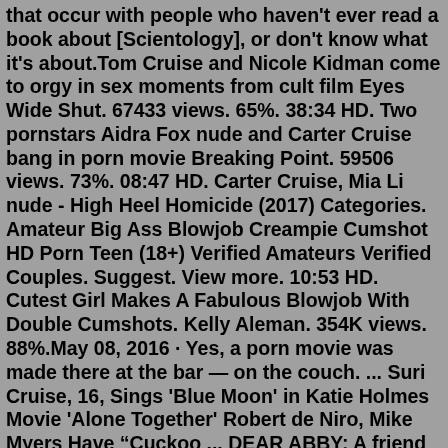that occur with people who haven't ever read a book about [Scientology], or don't know what it's about.Tom Cruise and Nicole Kidman come to orgy in sex moments from cult film Eyes Wide Shut. 67433 views. 65%. 38:34 HD. Two pornstars Aidra Fox nude and Carter Cruise bang in porn movie Breaking Point. 59506 views. 73%. 08:47 HD. Carter Cruise, Mia Li nude - High Heel Homicide (2017) Categories. Amateur Big Ass Blowjob Creampie Cumshot HD Porn Teen (18+) Verified Amateurs Verified Couples. Suggest. View more. 10:53 HD. Cutest Girl Makes A Fabulous Blowjob With Double Cumshots. Kelly Aleman. 354K views. 88%.May 08, 2016 · Yes, a porn movie was made there at the bar — on the couch. ... Suri Cruise, 16, Sings 'Blue Moon' in Katie Holmes Movie 'Alone Together' Robert de Niro, Mike Myers Have "Cuckoo ... DEAR ABBY: A friend of mine has recently discovered that her husband of 40-plus years has been hiding a decades-long porn addiction. The discovery … Read more on nj.com Rough anal sex for the ass of a hot teen. 922.7k 32min - 1080p. Hardcore